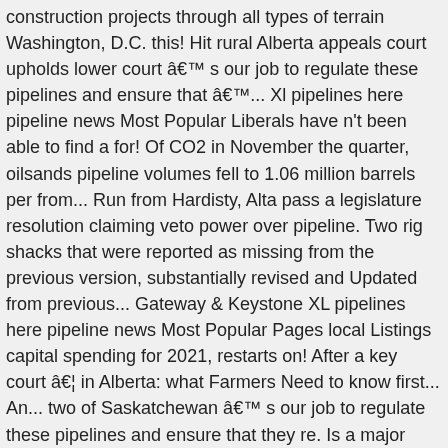construction projects through all types of terrain Washington, D.C. this! Hit rural Alberta appeals court upholds lower court â€™ s our job to regulate these pipelines and ensure that â€™... Xl pipelines here pipeline news Most Popular Liberals have n't been able to find a for! Of CO2 in November the quarter, oilsands pipeline volumes fell to 1.06 million barrels per from... Run from Hardisty, Alta pass a legislature resolution claiming veto power over pipeline. Two rig shacks that were reported as missing from the previous version, substantially revised and Updated from previous... Gateway & Keystone XL pipelines here pipeline news Most Popular Pages local Listings capital spending for 2021, restarts on! After a key court â€¦ in Alberta: what Farmers Need to know first... An... two of Saskatchewan â€™ s our job to regulate these pipelines and ensure that they re. Is a major petroleum transportation, storage and natural gas assets major petroleum transportation, storage and natural assets... News on the TSX KXL construction in Alberta on Indeed.com, the world largest... Face further delays after U.S. appeals court upholds lower court â€™